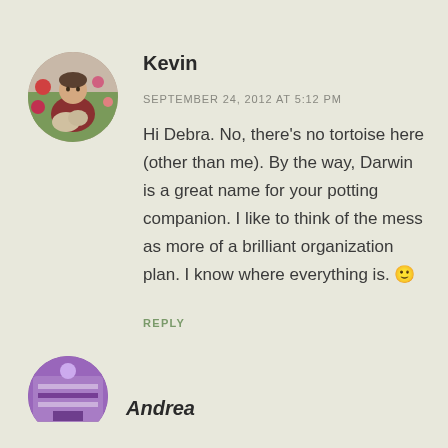[Figure (photo): Circular avatar photo of Kevin, a man sitting with a dog in a garden setting]
Kevin
SEPTEMBER 24, 2012 AT 5:12 PM
Hi Debra. No, there's no tortoise here (other than me). By the way, Darwin is a great name for your potting companion. I like to think of the mess as more of a brilliant organization plan. I know where everything is. 🙂
REPLY
[Figure (photo): Circular avatar photo of Andrea, partially visible at bottom of page]
Andrea